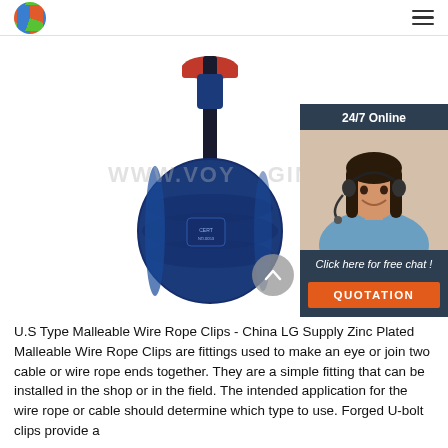Logo | Navigation menu
[Figure (photo): Blue malleable wire rope clip / pulley block product photo on white background, with watermark text WWW.VOYAGING...]
[Figure (infographic): 24/7 Online chat widget showing a female customer service representative wearing a headset, with 'Click here for free chat!' text and an orange QUOTATION button]
U.S Type Malleable Wire Rope Clips - China LG Supply Zinc Plated Malleable Wire Rope Clips are fittings used to make an eye or join two cable or wire rope ends together. They are a simple fitting that can be installed in the shop or in the field. The intended application for the wire rope or cable should determine which type to use. Forged U-bolt clips provide a